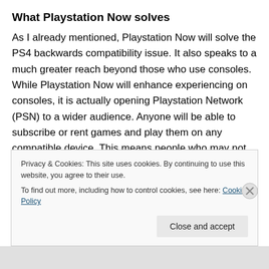What Playstation Now solves
As I already mentioned, Playstation Now will solve the PS4 backwards compatibility issue. It also speaks to a much greater reach beyond those who use consoles. While Playstation Now will enhance experiencing on consoles, it is actually opening Playstation Network (PSN) to a wider audience. Anyone will be able to subscribe or rent games and play them on any compatible device. This means people who may not have been serious enough to buy a console to play a game they have interest in can
Privacy & Cookies: This site uses cookies. By continuing to use this website, you agree to their use.
To find out more, including how to control cookies, see here: Cookie Policy
Close and accept